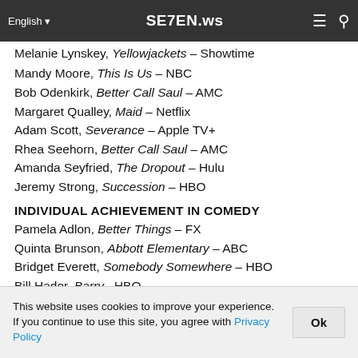SE7EN.ws
Melanie Lynskey, Yellowjackets – Showtime
Mandy Moore, This Is Us – NBC
Bob Odenkirk, Better Call Saul – AMC
Margaret Qualley, Maid – Netflix
Adam Scott, Severance – Apple TV+
Rhea Seehorn, Better Call Saul – AMC
Amanda Seyfried, The Dropout – Hulu
Jeremy Strong, Succession – HBO
INDIVIDUAL ACHIEVEMENT IN COMEDY
Pamela Adlon, Better Things – FX
Quinta Brunson, Abbott Elementary – ABC
Bridget Everett, Somebody Somewhere – HBO
Bill Hader, Barry– HBO
Janelle James, Abbott Elementary – ABC
Steve Martin, Only Murders in the Building– Hulu
Jean Smart, Hacks – HBO Max (2021 Winner in
This website uses cookies to improve your experience. If you continue to use this site, you agree with Privacy Policy